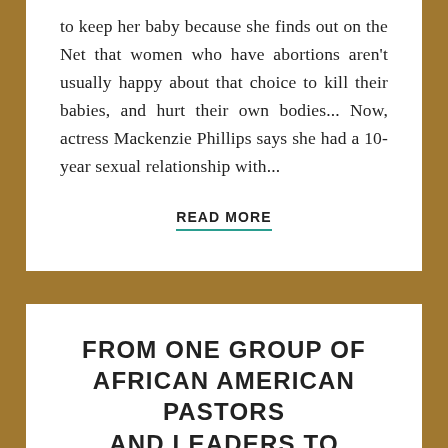to keep her baby because she finds out on the Net that women who have abortions aren't usually happy about that choice to kill their babies, and hurt their own bodies... Now, actress Mackenzie Phillips says she had a 10-year sexual relationship with...
READ MORE
FROM ONE GROUP OF AFRICAN AMERICAN PASTORS AND LEADERS TO ANOTHER...